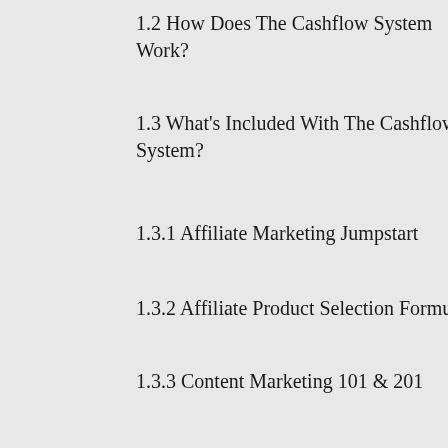1.2 How Does The Cashflow System Work?
1.3 What's Included With The Cashflow System?
1.3.1 Affiliate Marketing Jumpstart
1.3.2 Affiliate Product Selection Formula
1.3.3 Content Marketing 101 & 201
1.3.4 Paid Advertising Guide
1.3.5 Email Marketing Success
1.3.6 Social Selling 101 and 201